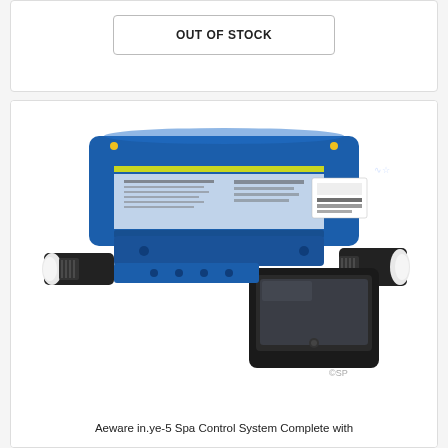OUT OF STOCK
[Figure (photo): Aeware in.ye-5 Spa Control System complete with touchscreen panel, blue control box, and plumbing connections. ©SP watermark visible.]
Aeware in.ye-5 Spa Control System Complete with